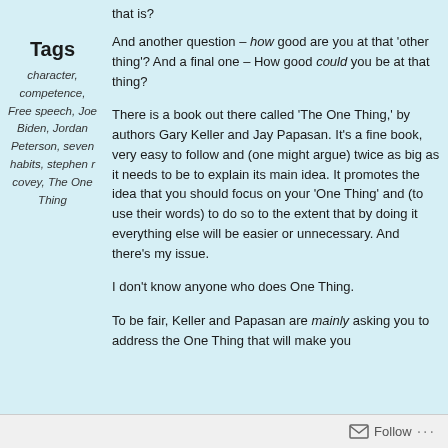that is?
Tags
character, competence, Free speech, Joe Biden, Jordan Peterson, seven habits, stephen r covey, The One Thing
And another question – how good are you at that 'other thing'? And a final one – How good could you be at that thing?
There is a book out there called 'The One Thing,' by authors Gary Keller and Jay Papasan. It's a fine book, very easy to follow and (one might argue) twice as big as it needs to be to explain its main idea. It promotes the idea that you should focus on your 'One Thing' and (to use their words) to do so to the extent that by doing it everything else will be easier or unnecessary. And there's my issue.
I don't know anyone who does One Thing.
To be fair, Keller and Papasan are mainly asking you to address the One Thing that will make you
Follow